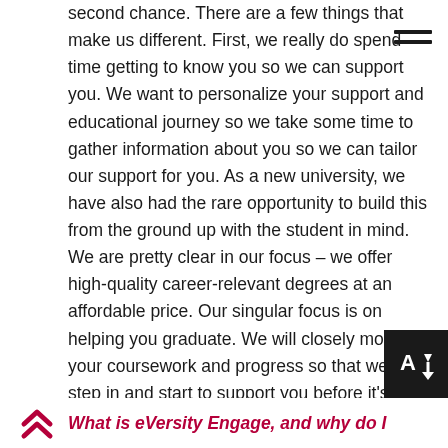second chance. There are a few things that make us different. First, we really do spend time getting to know you so we can support you. We want to personalize your support and educational journey so we take some time to gather information about you so we can tailor our support for you. As a new university, we have also had the rare opportunity to build this from the ground up with the student in mind. We are pretty clear in our focus – we offer high-quality career-relevant degrees at an affordable price. Our singular focus is on helping you graduate. We will closely monitor your coursework and progress so that we can step in and start to support you before it's too late.
[Figure (other): Black square button with white downward arrow and letter A icon]
What is eVersity Engage, and why do I